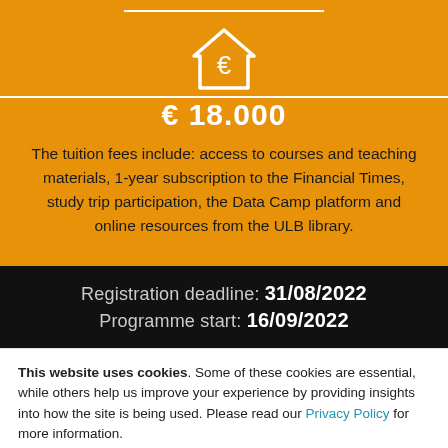[Figure (illustration): House/home icon with euro sign inside, white outline on orange background]
€ 18.000
The tuition fees include: access to courses and teaching materials, 1-year subscription to the Financial Times, study trip participation, the Data Camp platform and online resources from the ULB library.
Registration deadline: 31/08/2022
Programme start: 16/09/2022
This website uses cookies. Some of these cookies are essential, while others help us improve your experience by providing insights into how the site is being used. Please read our Privacy Policy for more information.